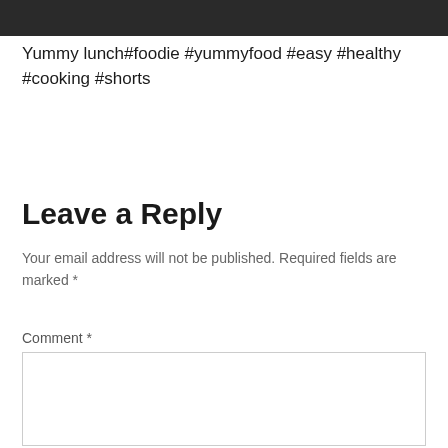[Figure (photo): Dark/black image strip at top of page]
Yummy lunch#foodie #yummyfood #easy #healthy #cooking #shorts
Leave a Reply
Your email address will not be published. Required fields are marked *
Comment *